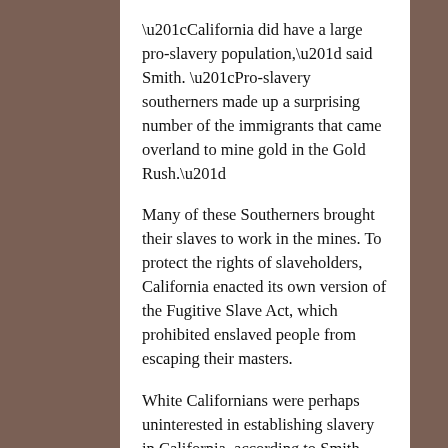“California did have a large pro-slavery population,” said Smith. “Pro-slavery southerners made up a surprising number of the immigrants that came overland to mine gold in the Gold Rush.”
Many of these Southerners brought their slaves to work in the mines. To protect the rights of slaveholders, California enacted its own version of the Fugitive Slave Act, which prohibited enslaved people from escaping their masters.
White Californians were perhaps uninterested in establishing slavery in California, according to Smith. Rather, they sought to maintain slaveholder rights while eliminating competition for